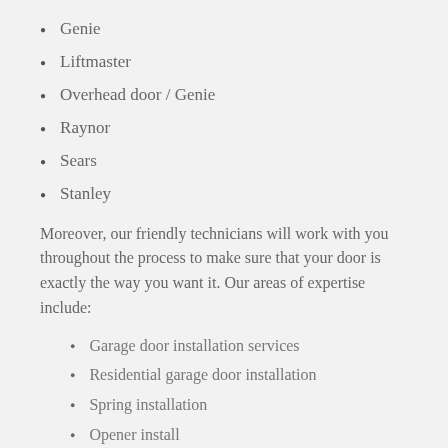Genie
Liftmaster
Overhead door / Genie
Raynor
Sears
Stanley
Moreover, our friendly technicians will work with you throughout the process to make sure that your door is exactly the way you want it. Our areas of expertise include:
Garage door installation services
Residential garage door installation
Spring installation
Opener install
Garage door parts installation
Garage door accessories installation